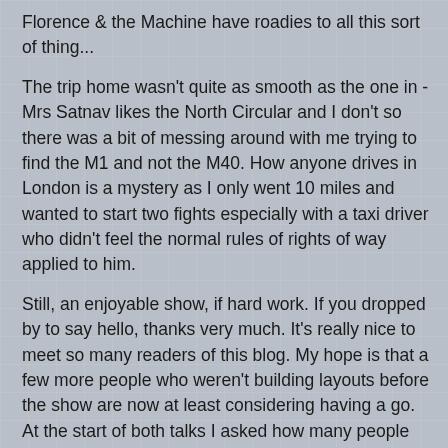Florence & the Machine have roadies to all this sort of thing...
The trip home wasn't quite as smooth as the one in - Mrs Satnav likes the North Circular and I don't so there was a bit of messing around with me trying to find the M1 and not the M40. How anyone drives in London is a mystery as I only went 10 miles and wanted to start two fights especially with a taxi driver who didn't feel the normal rules of rights of way applied to him.
Still, an enjoyable show, if hard work. If you dropped by to say hello, thanks very much. It's really nice to meet so many readers of this blog. My hope is that a few more people who weren't building layouts before the show are now at least considering having a go. At the start of both talks I asked how many people had a layout and only half the hands went up. There is work to do.
I'm afraid it's another "I didn't get out much so there aren't many photos" time, what there are, can be found on Flickr.